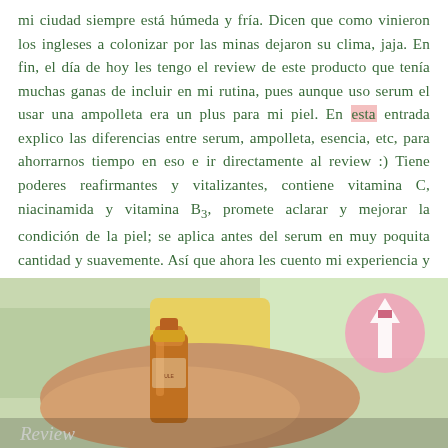mi ciudad siempre está húmeda y fría. Dicen que como vinieron los ingleses a colonizar por las minas dejaron su clima, jaja. En fin, el día de hoy les tengo el review de este producto que tenía muchas ganas de incluir en mi rutina, pues aunque uso serum el usar una ampolleta era un plus para mi piel. En esta entrada explico las diferencias entre serum, ampolleta, esencia, etc, para ahorrarnos tiempo en eso e ir directamente al review :) Tiene poderes reafirmantes y vitalizantes, contiene vitamina C, niacinamida y vitamina B3, promete aclarar y mejorar la condición de la piel; se aplica antes del serum en muy poquita cantidad y suavemente. Así que ahora les cuento mi experiencia y resultados:
[Figure (photo): Photo of a hand holding an amber/orange glass ampoule or serum bottle outdoors, with a pink upward arrow graphic overlay in the top right corner. Text 'Review' visible at the bottom left in italic white.]